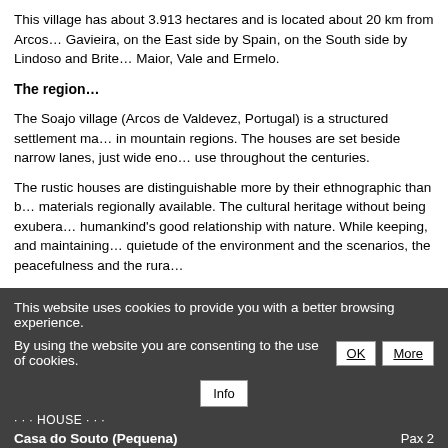This village has about 3.913 hectares and is located about 20 km from Arcos… Gavieira, on the East side by Spain, on the South side by Lindoso and Brite… Maior, Vale and Ermelo.
The region…
The Soajo village (Arcos de Valdevez, Portugal) is a structured settlement ma… in mountain regions. The houses are set beside narrow lanes, just wide eno… use throughout the centuries.
The rustic houses are distinguishable more by their ethnographic than b… materials regionally available. The cultural heritage without being exubera… humankind's good relationship with nature. While keeping, and maintaining… quietude of the environment and the scenarios, the peacefulness and the rura…
This village is famous for its communitarian threshing-ground constituted by… most ancient one goes back to 1782. These granite monuments were built … regular basis and they were used for the protection of cereal from storms and… by the villagers.
This website uses cookies to provide you with a better browsing experience. By using the website you are consenting to the use of cookies.
Casa do Souto (Pequena)  Pax 2